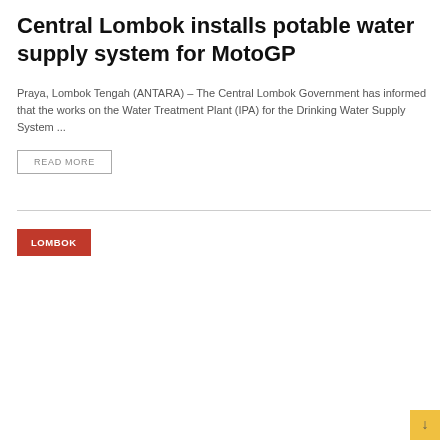Central Lombok installs potable water supply system for MotoGP
Praya, Lombok Tengah (ANTARA) – The Central Lombok Government has informed that the works on the Water Treatment Plant (IPA) for the Drinking Water Supply System ...
READ MORE
LOMBOK